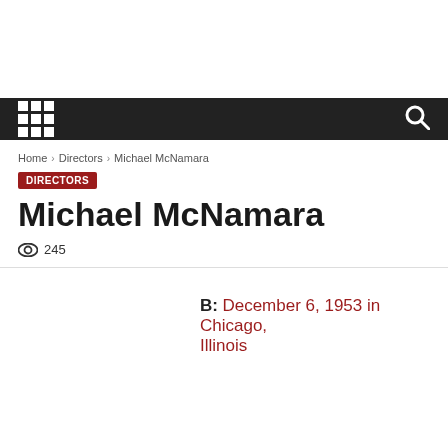Home › Directors › Michael McNamara
DIRECTORS
Michael McNamara
245
B: December 6, 1953 in Chicago, Illinois